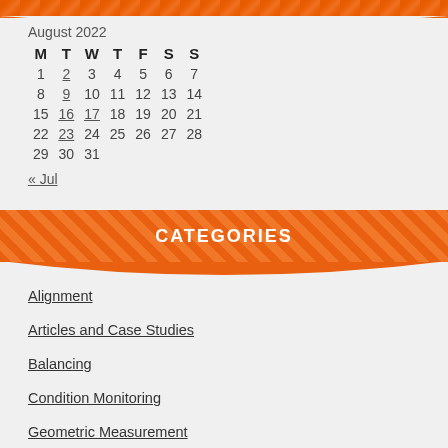| M | T | W | T | F | S | S |
| --- | --- | --- | --- | --- | --- | --- |
| 1 | 2 | 3 | 4 | 5 | 6 | 7 |
| 8 | 9 | 10 | 11 | 12 | 13 | 14 |
| 15 | 16 | 17 | 18 | 19 | 20 | 21 |
| 22 | 23 | 24 | 25 | 26 | 27 | 28 |
| 29 | 30 | 31 |  |  |  |  |
« Jul
CATEGORIES
Alignment
Articles and Case Studies
Balancing
Condition Monitoring
Geometric Measurement
Induction Heating
Industry Events